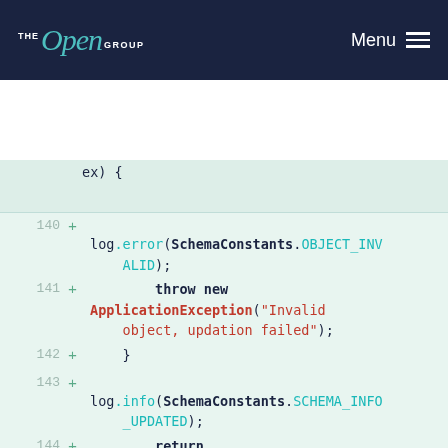The Open Group | Menu
[Figure (screenshot): Code diff view showing Java code lines 140-149 with line numbers, plus signs indicating additions, and syntax highlighting. Code includes log.error(SchemaConstants.OBJECT_INVALID), throw new ApplicationException("Invalid object, updation failed"), log.info(SchemaConstants.SCHEMA_INFO_UPDATED), return getSchemaInfoObject(entity, datastore), closing braces, and start of a Javadoc comment for a method to clean schemaInfo in google datastore of tenantId GCP.]